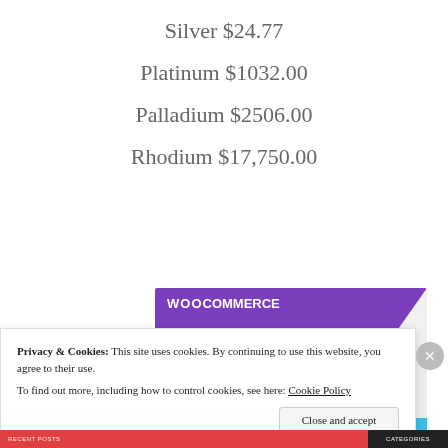Silver $24.77
Platinum $1032.00
Palladium $2506.00
Rhodium $17,750.00
[Figure (screenshot): WooCommerce promotional image showing 'How to start selling subscriptions online' with purple banner, teal and blue geometric shapes on a gray background.]
Privacy & Cookies: This site uses cookies. By continuing to use this website, you agree to their use.
To find out more, including how to control cookies, see here: Cookie Policy
Close and accept